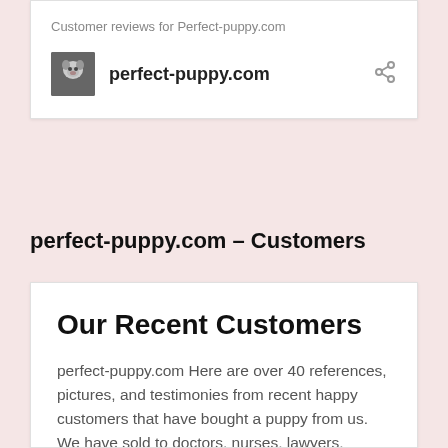Customer reviews for Perfect-puppy.com
perfect-puppy.com
perfect-puppy.com – Customers
Our Recent Customers
perfect-puppy.com Here are over 40 references, pictures, and testimonies from recent happy customers that have bought a puppy from us.  We have sold to doctors, nurses, lawyers, Berkeley and UCLA students, high tech company bosses, pharmacist, artists, banker, and a pastor.  Our customers are white Americans, Asians, Chinese, Japanese, Koreans, Hispanics, Blacks, Russians, Europeans, Ukrainians, … Continue